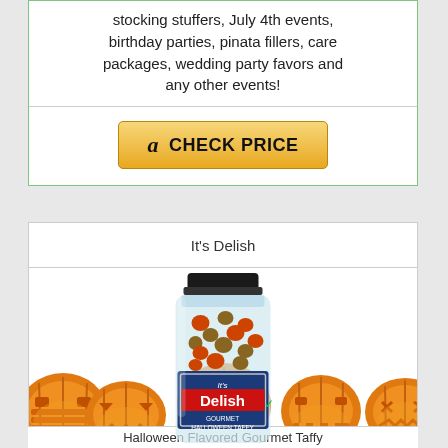stocking stuffers, July 4th events, birthday parties, pinata fillers, care packages, wedding party favors and any other events!
[Figure (other): Amazon CHECK PRICE button with Amazon logo]
It's Delish
[Figure (photo): It's Delish Gourmet Halloween Taffy candy jar product image with jack-o-lantern pumpkins decoration row at bottom]
Halloween Flavored Gourmet Taffy